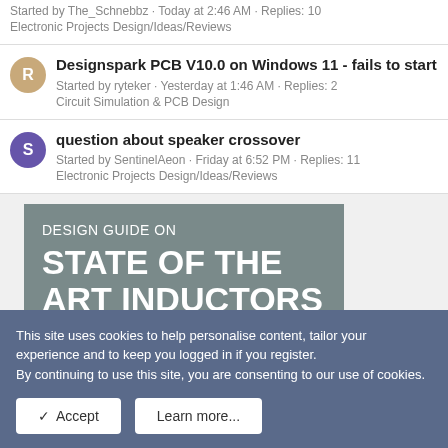Started by The_Schnebbz · Today at 2:46 AM · Replies: 10
Electronic Projects Design/Ideas/Reviews
Designspark PCB V10.0 on Windows 11 - fails to start
Started by ryteker · Yesterday at 1:46 AM · Replies: 2
Circuit Simulation & PCB Design
question about speaker crossover
Started by SentinelAeon · Friday at 6:52 PM · Replies: 11
Electronic Projects Design/Ideas/Reviews
[Figure (infographic): Design Guide banner: DESIGN GUIDE ON STATE OF THE ART INDUCTORS]
This site uses cookies to help personalise content, tailor your experience and to keep you logged in if you register.
By continuing to use this site, you are consenting to our use of cookies.
✓ Accept    Learn more...